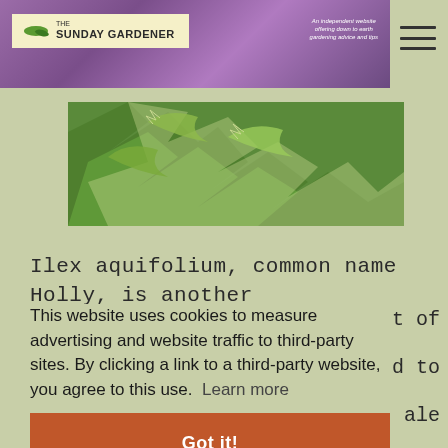[Figure (screenshot): The Sunday Gardener website header banner with purple flower background, logo in cream box, and hamburger menu icon]
[Figure (photo): Close-up photo of holly (Ilex aquifolium) leaves showing variegated green and yellow coloring with spiky edges]
Ilex aquifolium, common name Holly, is another
t of
d to
ale
d
This website uses cookies to measure advertising and website traffic to third-party sites. By clicking a link to a third-party website, you agree to this use.  Learn more
Got it!
Choisya